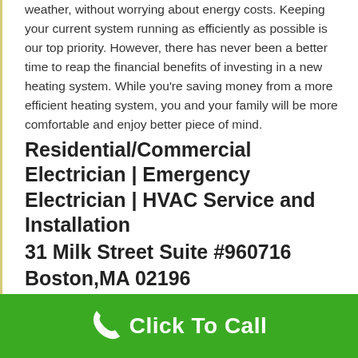weather, without worrying about energy costs. Keeping your current system running as efficiently as possible is our top priority. However, there has never been a better time to reap the financial benefits of investing in a new heating system. While you're saving money from a more efficient heating system, you and your family will be more comfortable and enjoy better piece of mind.
Residential/Commercial Electrician | Emergency Electrician | HVAC Service and Installation
31 Milk Street Suite #960716
Boston,MA 02196
(857) 895-1220
www.peboston.com
Click To Call